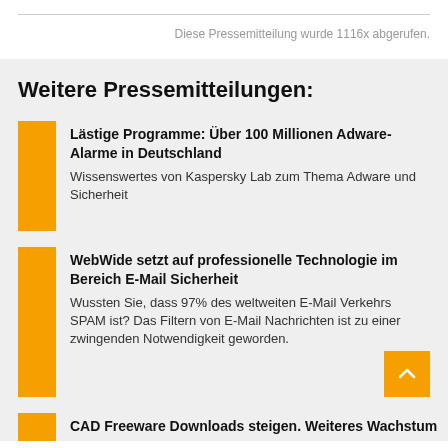Diese Pressemitteilung wurde 1116x abgerufen.
Weitere Pressemitteilungen:
Lästige Programme: Über 100 Millionen Adware-Alarme in Deutschland
Wissenswertes von Kaspersky Lab zum Thema Adware und Sicherheit
WebWide setzt auf professionelle Technologie im Bereich E-Mail Sicherheit
Wussten Sie, dass 97% des weltweiten E-Mail Verkehrs SPAM ist? Das Filtern von E-Mail Nachrichten ist zu einer zwingenden Notwendigkeit geworden.
CAD Freeware Downloads steigen. Weiteres Wachstum